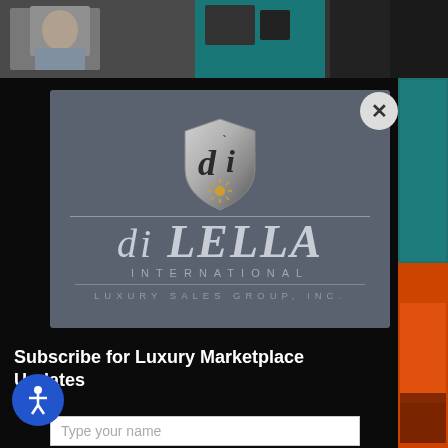[Figure (screenshot): Top portion of a webpage showing partial photos of people]
[Figure (logo): di LELLA INTERNATIONAL LUXURY SALES GROUP, INC. logo with shield emblem on dark gray background, with close (X) button overlay]
Subscribe for Luxury Marketplace Updates
Type your name